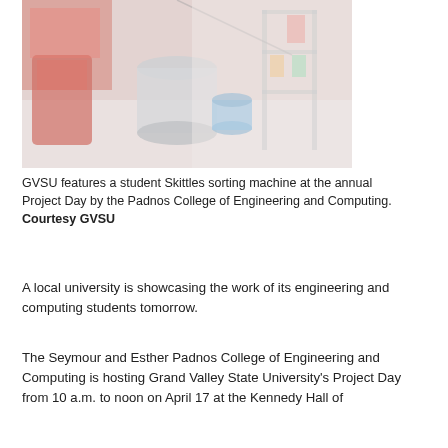[Figure (photo): A blurry photo of a student Skittles sorting machine on a table with colorful supplies and candy bags in the background.]
GVSU features a student Skittles sorting machine at the annual Project Day by the Padnos College of Engineering and Computing. Courtesy GVSU
A local university is showcasing the work of its engineering and computing students tomorrow.
The Seymour and Esther Padnos College of Engineering and Computing is hosting Grand Valley State University's Project Day from 10 a.m. to noon on April 17 at the Kennedy Hall of